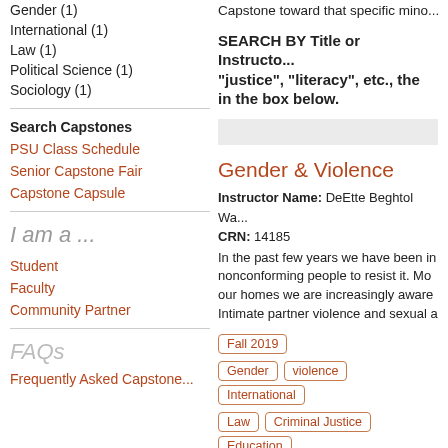Gender (1)
International (1)
Law (1)
Political Science (1)
Sociology (1)
Search Capstones
PSU Class Schedule
Senior Capstone Fair
Capstone Capsule
I am a ...
Student
Faculty
Community Partner
FAQs
Frequently Asked Capstone...
Capstone toward that specific mino...
SEARCH BY Title or Instructor: "justice", "literacy", etc., the in the box below.
Gender & Violence
Instructor Name: DeEtte Beghtol Wa...
CRN: 14185
In the past few years we have been in nonconforming people to resist it. Mo our homes we are increasingly aware Intimate partner violence and sexual a
Fall 2019
Gender   violence   International   Law   Criminal Justice   Education